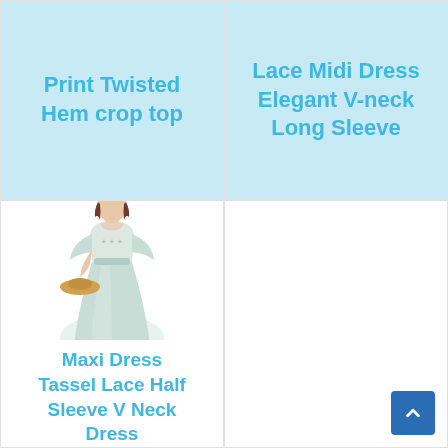Print Twisted Hem crop top
Lace Midi Dress Elegant V-neck Long Sleeve
[Figure (photo): Woman wearing a light grey maxi dress with tassel lace details, half sleeves, V-neck, holding a straw hat]
Maxi Dress Tassel Lace Half Sleeve V Neck Dress